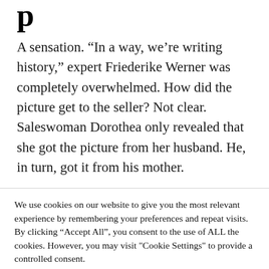p
A sensation. “In a way, we’re writing history,” expert Friederike Werner was completely overwhelmed. How did the picture get to the seller? Not clear. Saleswoman Dorothea only revealed that she got the picture from her husband. He, in turn, got it from his mother.
We use cookies on our website to give you the most relevant experience by remembering your preferences and repeat visits. By clicking “Accept All”, you consent to the use of ALL the cookies. However, you may visit “Cookie Settings” to provide a controlled consent.